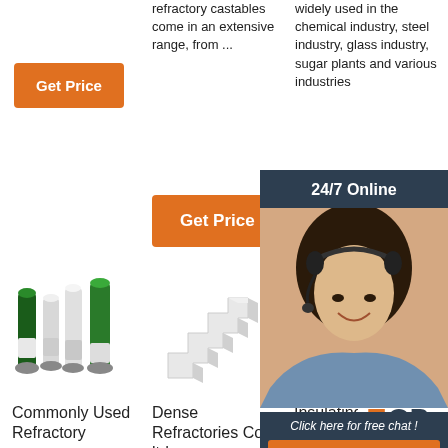refractory castables come in an extensive range, from ...
[Figure (illustration): Get Price orange button in column 1]
[Figure (illustration): Get Price orange button in column 2]
widely used in the chemical industry, steel industry, glass industry, sugar plants and various industries
[Figure (illustration): Partial Get Price orange button in column 3]
[Figure (photo): 24/7 Online chat agent overlay with woman wearing headset, Click here for free chat! and QUOTATION button]
[Figure (photo): Commonly Used Refractory product image - green and white cylindrical rods]
[Figure (photo): Dense Refractories Co ltd product image - white stepped/stacked refractory pieces]
[Figure (photo): Insulating Castable Refractory product image - brown rectangular block]
Commonly Used Refractory
Dense Refractories Co ltd-
Insulating Castable Refractory
[Figure (illustration): TOP navigation button with orange dot pattern]